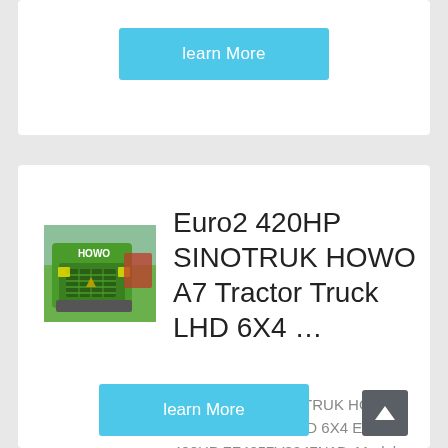learn More
[Figure (photo): Front close-up of a green SINOTRUK HOWO truck with logo visible]
Euro2 420HP SINOTRUK HOWO A7 Tractor Truck LHD 6X4 …
Specification: SINOTRUK HOWO A7 Tractor Truck LHD 6X4 Euro2 420HP ZZ4257V3247N1B. Model. ZZ4257V3247N1B. Drive Type. 6×4. Engine. D12.42 …
learn More